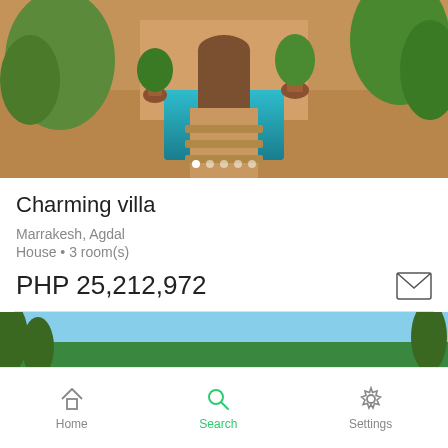[Figure (photo): Exterior photo of a villa with swimming pool, terracotta walls, tropical plants, and shaded walkway. Carousel dots visible at bottom.]
Charming villa
Marrakesh, Agdal
House • 3 room(s)
PHP 25,212,972
[Figure (photo): Garden and pool area of a villa with green lawn, lounge chairs, umbrella, and pool toys in foreground.]
Home  Search  Settings